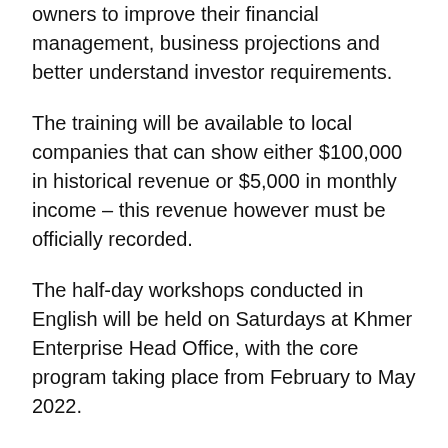owners to improve their financial management, business projections and better understand investor requirements.
The training will be available to local companies that can show either $100,000 in historical revenue or $5,000 in monthly income – this revenue however must be officially recorded.
The half-day workshops conducted in English will be held on Saturdays at Khmer Enterprise Head Office, with the core program taking place from February to May 2022.
On top of training and 1-on-1 support, there will also be a prize money pool of $15,000 awarded to the top SMEs alongside any new capital raised. The prize money is made possible by the sponsorship from ABA Bank, AMK